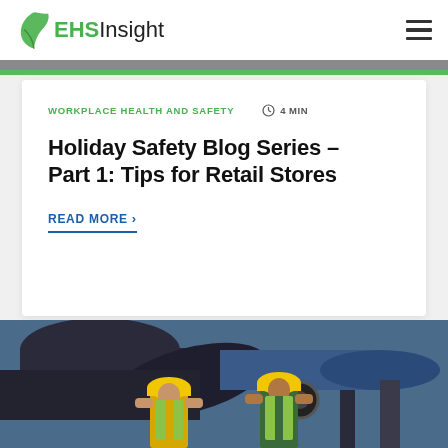EHS Insight
WORKPLACE HEALTH AND SAFETY   4 MIN
Holiday Safety Blog Series – Part 1: Tips for Retail Stores
READ MORE
[Figure (photo): Two workers in yellow hard hats and safety vests examining industrial pipes and equipment in a factory setting.]